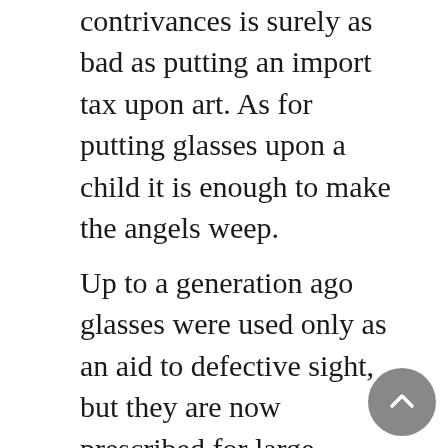contrivances is surely as bad as putting an import tax upon art. As for putting glasses upon a child it is enough to make the angels weep.
Up to a generation ago glasses were used only as an aid to defective sight, but they are now prescribed for large numbers of persons who can see as well or better without them. As explained in Chapter I, the hypermetropic eye is believed to be capable of correcting its own difficulties to some extent by altering the curvature of the lens, through the activity of the ciliary muscle. The eye with simple myopia is not credited with this capacity, because an increase in the convexity of the lens, which is supposed to be all that is accomplished by